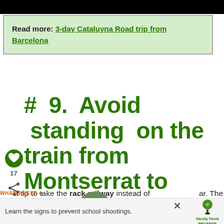[Figure (photo): Black image bar at top of page]
Read more: 3-day Cataluyna Road trip from Barcelona
# 9. Avoid standing on the train from Montserrat to Barcelona
a tip to take the rack railway instead of the cable car. The cable car is quicker than the rack railway. But you get off the train earlier for the cable car. The train...to
[Figure (photo): Small circular thumbnail of Montserrat landscape]
WHAT'S NEXT → 9 Mistakes to avoid Travel...
Learn the signs to prevent school shootings. Sandy Hook PROMISE